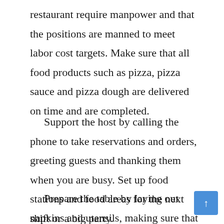restaurant require manpower and that the positions are manned to meet labor cost targets. Make sure that all food products such as pizza, pizza sauce and pizza dough are delivered on time and are completed.
Support the host by calling the phone to take reservations and orders, greeting guests and thanking them when you are busy. Set up food stations and food areas for the next shift or a big party.
Prepare the table by laying out napkins and utensils, making sure that the spices are